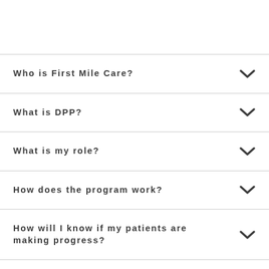Who is First Mile Care?
What is DPP?
What is my role?
How does the program work?
How will I know if my patients are making progress?
Will I have to add or change any systems?